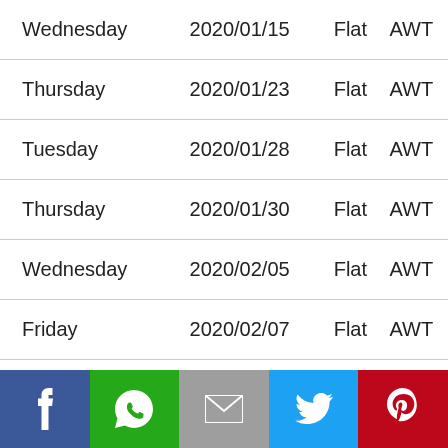| Wednesday | 2020/01/15 | Flat | AWT |
| Thursday | 2020/01/23 | Flat | AWT |
| Tuesday | 2020/01/28 | Flat | AWT |
| Thursday | 2020/01/30 | Flat | AWT |
| Wednesday | 2020/02/05 | Flat | AWT |
| Friday | 2020/02/07 | Flat | AWT |
| Sunday | 2020/02/09 | Flat | AWT |
[Figure (infographic): Social media share buttons: Facebook (blue), WhatsApp (green), Email (grey), Twitter (light blue), Pinterest (red)]